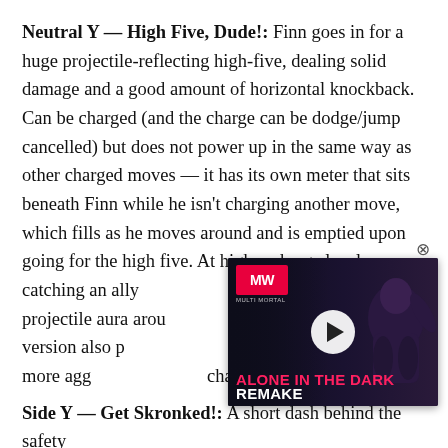Neutral Y — High Five, Dude!: Finn goes in for a huge projectile-reflecting high-five, dealing solid damage and a good amount of horizontal knockback. Can be charged (and the charge can be dodge/jump cancelled) but does not power up in the same way as other charged moves — it has its own meter that sits beneath Finn while he isn't charging another move, which fills as he moves around and is emptied upon going for the high five. At higher charge levels, catching an ally damaging projectile aura around damage. The air version also p so you can be a little more agg chasing off-stage KOs.
[Figure (screenshot): Video advertisement overlay for 'Alone in the Dark Remake' from Multivital (MW), featuring a play button, the MW logo in red, the title 'ALONE IN THE DARK' in pink/red text and 'REMAKE' in white, with a dark cinematic background image.]
Side Y — Get Skronked!: A short dash behind the safety